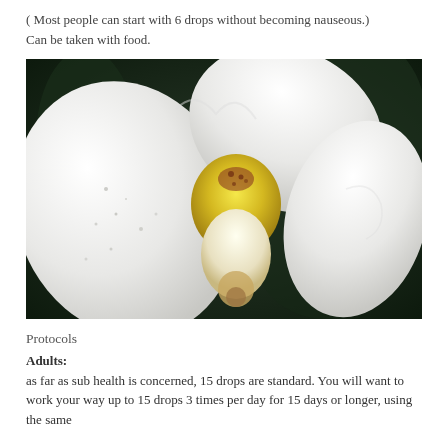( Most people can start with 6 drops without becoming nauseous.)
Can be taken with food.
[Figure (photo): Close-up photograph of a white orchid flower with yellow and reddish-brown center markings, against a dark blurred background.]
Protocols
Adults:
as far as sub health is concerned, 15 drops are standard. You will want to work your way up to 15 drops 3 times per day for 15 days or longer, using the same